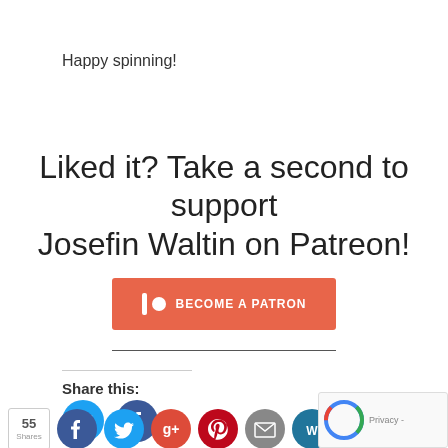Happy spinning!
Liked it? Take a second to support Josefin Waltin on Patreon!
[Figure (other): Patreon 'Become a Patron' button in salmon/coral color with Patreon logo icon]
Share this:
[Figure (other): Twitter share icon button (round, blue)]
[Figure (other): Facebook share icon button (round, dark blue)]
[Figure (other): Social sharing row with 55 Shares badge, Facebook, Twitter, Google+, Pinterest, Email, and another button]
[Figure (other): reCAPTCHA overlay with Privacy label]